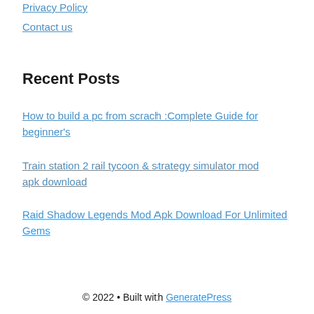Privacy Policy
Contact us
Recent Posts
How to build a pc from scrach :Complete Guide for beginner's
Train station 2 rail tycoon & strategy simulator mod apk download
Raid Shadow Legends Mod Apk Download For Unlimited Gems
© 2022 • Built with GeneratePress